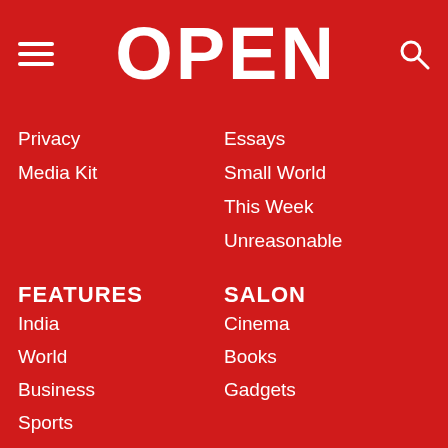OPEN
Privacy
Media Kit
Essays
Small World
This Week
Unreasonable
FEATURES
India
World
Business
Sports
Art and Culture
Living
SALON
Cinema
Books
Gadgets
OPEN AVENUES
Brands
Events